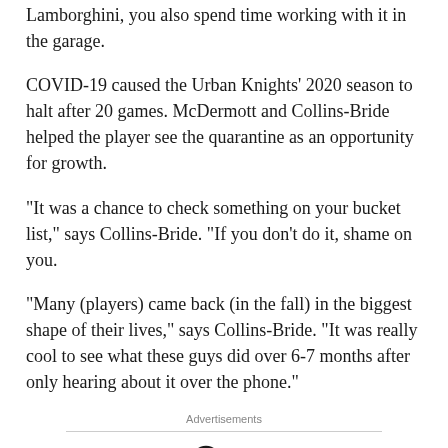Lamborghini, you also spend time working with it in the garage.
COVID-19 caused the Urban Knights’ 2020 season to halt after 20 games. McDermott and Collins-Bride helped the player see the quarantine as an opportunity for growth.
“It was a chance to check something on your bucket list,” says Collins-Bride. “If you don’t do it, shame on you.
“Many (players) came back (in the fall) in the biggest shape of their lives,” says Collins-Bride. “It was really cool to see what these guys did over 6-7 months after only hearing about it over the phone.”
Advertisements
[Figure (logo): Automattic logo with stylized O containing a blue dot]